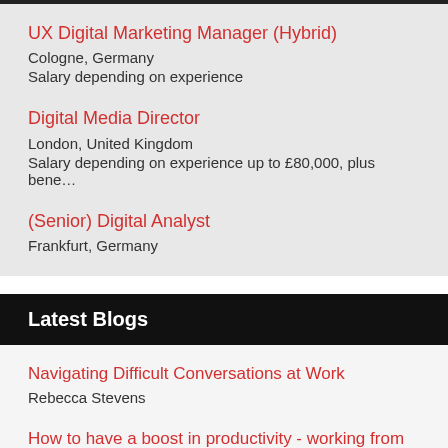UX Digital Marketing Manager (Hybrid)
Cologne, Germany
Salary depending on experience
Digital Media Director
London, United Kingdom
Salary depending on experience up to £80,000, plus bene…
(Senior) Digital Analyst
Frankfurt, Germany
Latest Blogs
Navigating Difficult Conversations at Work
Rebecca Stevens
How to have a boost in productivity - working from home edition!
Hollie Barry